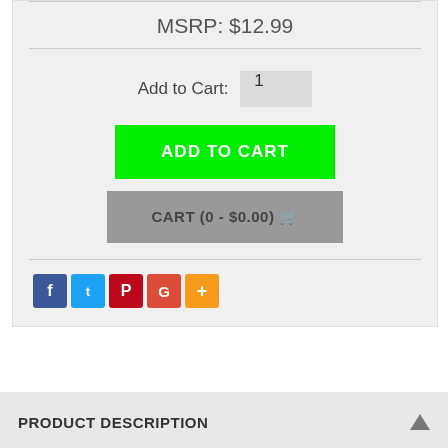MSRP: $12.99
Add to Cart: 1
ADD TO CART
CART (0 - $0.00)
[Figure (other): Social sharing buttons: Facebook (blue), Twitter (light blue), Pinterest (red), Google (red-orange), More (orange)]
PRODUCT DESCRIPTION